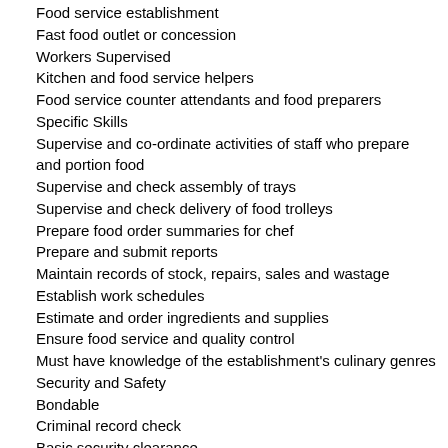Food service establishment
Fast food outlet or concession
Workers Supervised
Kitchen and food service helpers
Food service counter attendants and food preparers
Specific Skills
Supervise and co-ordinate activities of staff who prepare and portion food
Supervise and check assembly of trays
Supervise and check delivery of food trolleys
Prepare food order summaries for chef
Prepare and submit reports
Maintain records of stock, repairs, sales and wastage
Establish work schedules
Estimate and order ingredients and supplies
Ensure food service and quality control
Must have knowledge of the establishment's culinary genres
Security and Safety
Bondable
Criminal record check
Basic security clearance
Own Tools/Equipment
Safety equipment/gear